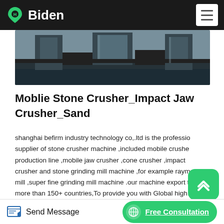Biden
[Figure (photo): Industrial stone crusher machinery — dark blue/grey metallic equipment photographed from below/side angle]
Moblie Stone Crusher_Impact Jaw Crusher_Sand
shanghai befirm industry technology co,.ltd is the professional supplier of stone crusher machine ,included mobile crusher production line ,mobile jaw crusher ,cone crusher ,impact crusher and stone grinding mill machine ,for example raymond mill ,super fine grinding mill machine .our machine export to more than 150+ countries,To provide you with Global high…
Send Message | Free Consultation